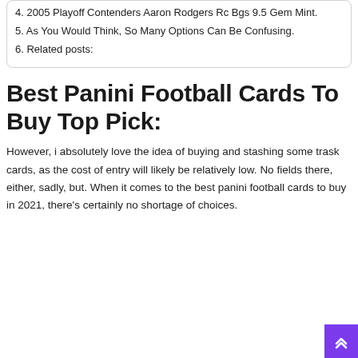4. 2005 Playoff Contenders Aaron Rodgers Rc Bgs 9.5 Gem Mint.
5. As You Would Think, So Many Options Can Be Confusing.
6. Related posts:
Best Panini Football Cards To Buy Top Pick:
However, i absolutely love the idea of buying and stashing some trask cards, as the cost of entry will likely be relatively low. No fields there, either, sadly, but. When it comes to the best panini football cards to buy in 2021, there’s certainly no shortage of choices.